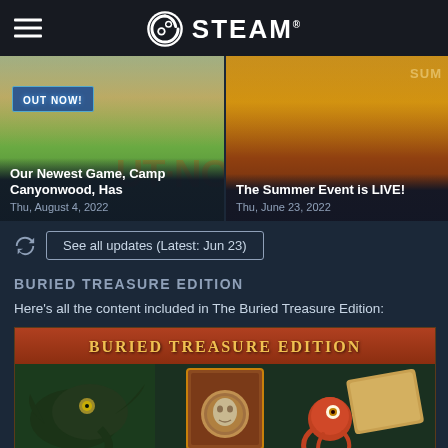STEAM
[Figure (screenshot): Left news card: Camp Canyonwood game with OUT NOW! banner over sandy beach scene. Title: Our Newest Game, Camp Canyonwood, Has. Date: Thu, August 4, 2022]
[Figure (screenshot): Right news card: The Summer Event is LIVE! with dark amber background. Date: Thu, June 23, 2022]
See all updates (Latest: Jun 23)
BURIED TREASURE EDITION
Here's all the content included in The Buried Treasure Edition:
[Figure (illustration): Buried Treasure Edition banner with dark red header showing BURIED TREASURE EDITION in gold letters, followed by three fantasy artwork images: sea creature on left, book/tome in middle, another creature on right, all on dark green background]